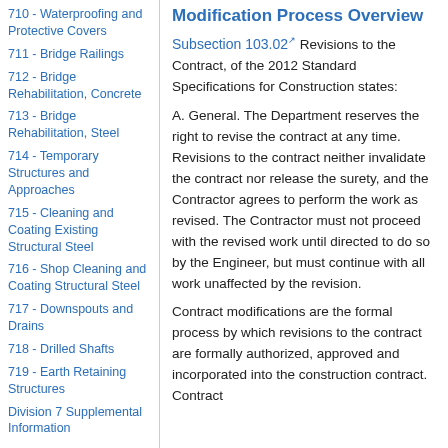710 - Waterproofing and Protective Covers
711 - Bridge Railings
712 - Bridge Rehabilitation, Concrete
713 - Bridge Rehabilitation, Steel
714 - Temporary Structures and Approaches
715 - Cleaning and Coating Existing Structural Steel
716 - Shop Cleaning and Coating Structural Steel
717 - Downspouts and Drains
718 - Drilled Shafts
719 - Earth Retaining Structures
Division 7 Supplemental Information
Division 8 - Incidental Construction
801 - Concrete Drivers
Modification Process Overview
Subsection 103.02 Revisions to the Contract, of the 2012 Standard Specifications for Construction states:
A. General. The Department reserves the right to revise the contract at any time. Revisions to the contract neither invalidate the contract nor release the surety, and the Contractor agrees to perform the work as revised. The Contractor must not proceed with the revised work until directed to do so by the Engineer, but must continue with all work unaffected by the revision.
Contract modifications are the formal process by which revisions to the contract are formally authorized, approved and incorporated into the construction contract. Contract